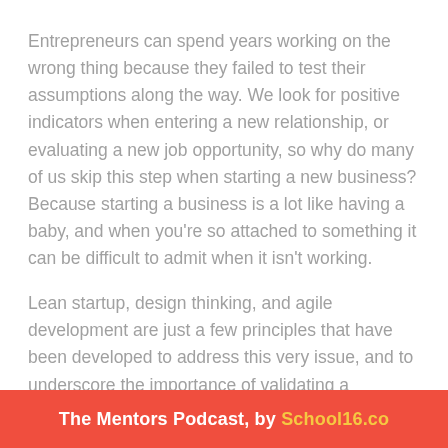Entrepreneurs can spend years working on the wrong thing because they failed to test their assumptions along the way. We look for positive indicators when entering a new relationship, or evaluating a new job opportunity, so why do many of us skip this step when starting a new business? Because starting a business is a lot like having a baby, and when you're so attached to something it can be difficult to admit when it isn't working.
Lean startup, design thinking, and agile development are just a few principles that have been developed to address this very issue, and to underscore the importance of validating a business concept before investing resources into developing it.
The Mentors Podcast, by School16.co